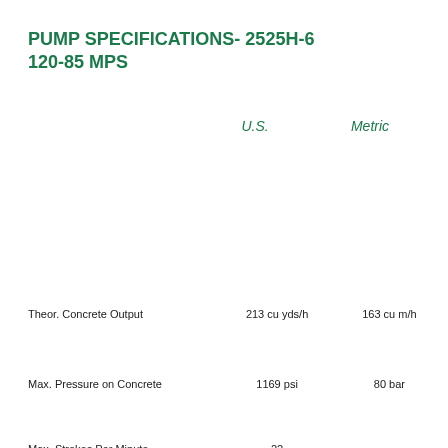PUMP SPECIFICATIONS- 2525H-6 120-85 MPS
|  | U.S. | Metric |
| --- | --- | --- |
| Theor. Concrete Output | 213 cu yds/h | 163 cu m/h |
| Max. Pressure on Concrete | 1169 psi | 80 bar |
| Max. Strokes Per Minute | 22 |  |
| Max. Aggregate size | 2.5 in | 63.5 mm |
| Material Cylinder Diameter | 10 in | 254 mm |